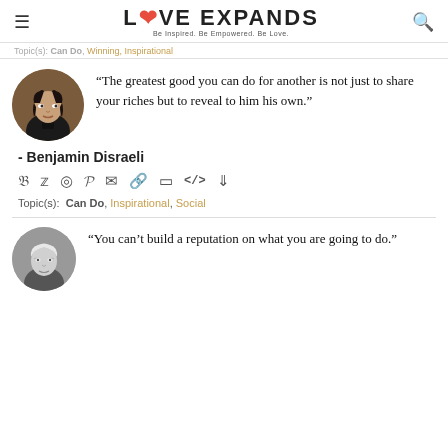LOVE EXPANDS — Be Inspired. Be Empowered. Be Love.
Topic(s): Can Do, Winning, Inspirational
[Figure (photo): Circular portrait of Benjamin Disraeli, a 19th century man in dark formal attire with dark curly hair, painted portrait style]
“The greatest good you can do for another is not just to share your riches but to reveal to him his own.”
- Benjamin Disraeli
Share icons: facebook, twitter, instagram, pinterest, email, link, copy, code, download
Topic(s): Can Do, Inspirational, Social
[Figure (photo): Circular black and white portrait of an elderly person, partially visible at bottom of page]
“You can’t build a reputation on what you are going to do.”